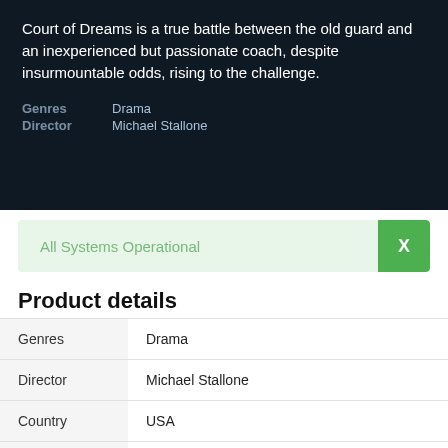Court of Dreams is a true battle between the old guard and an inexperienced but passionate coach, despite insurmountable odds, rising to the challenge.
Genres   Drama
Director   Michael Stallone
All Systems Operational
Product details
|  |  |
| --- | --- |
| Genres | Drama |
| Director | Michael Stallone |
| Country | USA |
| Runtime | 11 min |